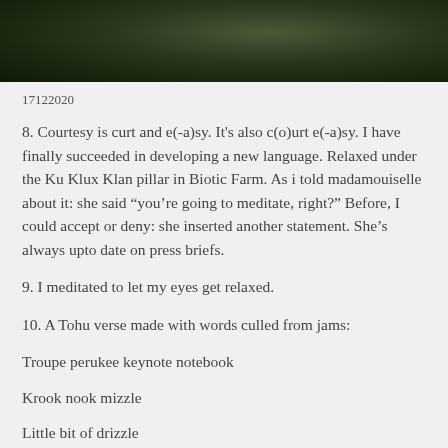[Figure (photo): A dark outdoor nature photo showing ground with vegetation and soil, dark greenish tones.]
17122020
8. Courtesy is curt and e(-a)sy. It's also c(o)urt e(-a)sy. I have finally succeeded in developing a new language. Relaxed under the Ku Klux Klan pillar in Biotic Farm. As i told madamouiselle about it: she said “you’re going to meditate, right?” Before, I could accept or deny: she inserted another statement. She’s always upto date on press briefs.
9. I meditated to let my eyes get relaxed.
10. A Tohu verse made with words culled from jams:
Troupe perukee keynote notebook
Krook nook mizzle
Little bit of drizzle